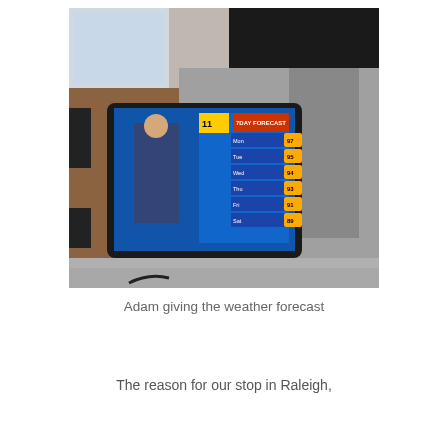[Figure (photo): A photograph of a tablet or monitor on a stand in what appears to be a TV studio or similar facility. The screen displays a weather forecast broadcast with a male meteorologist standing in front of a weather map showing temperature listings.]
Adam giving the weather forecast
The reason for our stop in Raleigh,